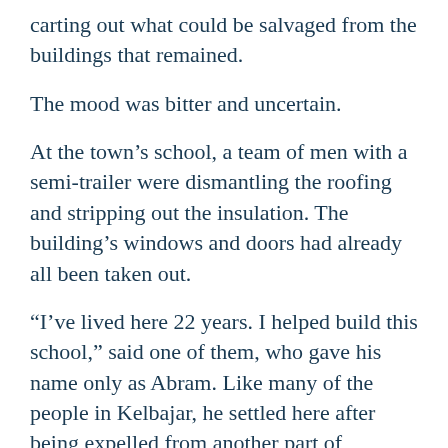carting out what could be salvaged from the buildings that remained.
The mood was bitter and uncertain.
At the town's school, a team of men with a semi-trailer were dismantling the roofing and stripping out the insulation. The building's windows and doors had already all been taken out.
“I’ve lived here 22 years. I helped build this school,” said one of them, who gave his name only as Abram. Like many of the people in Kelbajar, he settled here after being expelled from another part of Azerbaijan in the first war